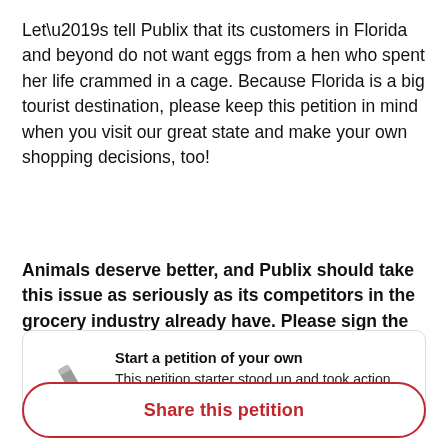Let’s tell Publix that its customers in Florida and beyond do not want eggs from a hen who spent her life crammed in a cage. Because Florida is a big tourist destination, please keep this petition in mind when you visit our great state and make your own shopping decisions, too!
Animals deserve better, and Publix should take this issue as seriously as its competitors in the grocery industry already have. Please sign the petition!
Start a petition of your own
This petition starter stood up and took action. Will you do the same?
Share this petition